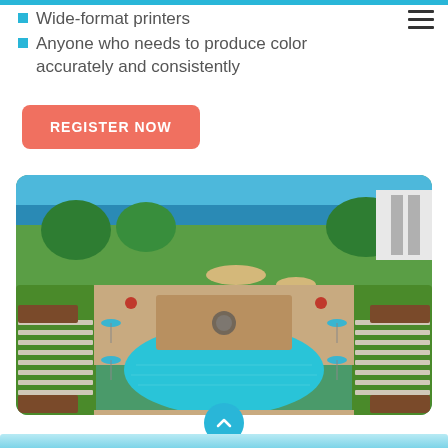Wide-format printers
Anyone who needs to produce color accurately and consistently
REGISTER NOW
[Figure (photo): Aerial view of a luxury resort hotel pool area with lounge chairs, umbrellas, manicured hedges, a golf course, and ocean view in the background]
scroll up arrow button